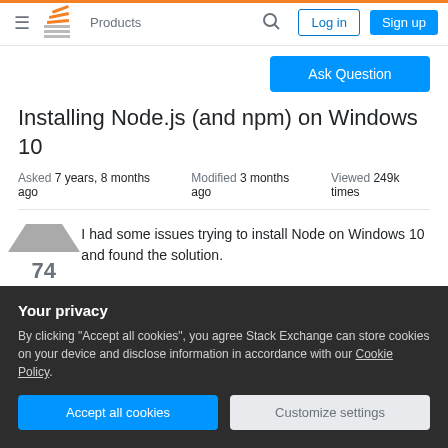Stack Overflow — ≡ Products | Log in | Sign up
Installing Node.js (and npm) on Windows 10
Asked 7 years, 8 months ago   Modified 3 months ago   Viewed 249k times
I had some issues trying to install Node on Windows 10 and found the solution.
Your privacy
By clicking "Accept all cookies", you agree Stack Exchange can store cookies on your device and disclose information in accordance with our Cookie Policy.